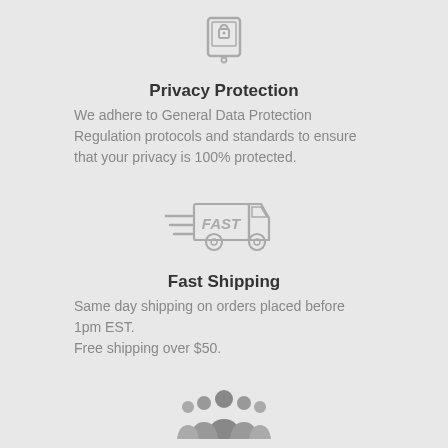[Figure (illustration): Padlock/mobile device icon in gray]
Privacy Protection
We adhere to General Data Protection Regulation protocols and standards to ensure that your privacy is 100% protected.
[Figure (illustration): Fast delivery truck icon with speed lines and FAST label in gray]
Fast Shipping
Same day shipping on orders placed before 1pm EST. Free shipping over $50.
[Figure (illustration): Group of people/team icon in gray]